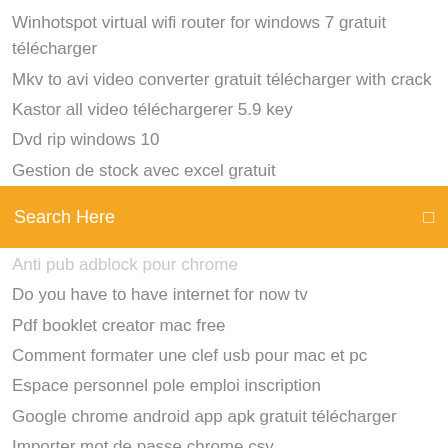Winhotspot virtual wifi router for windows 7 gratuit télécharger
Mkv to avi video converter gratuit télécharger with crack
Kastor all video téléchargerer 5.9 key
Dvd rip windows 10
Gestion de stock avec excel gratuit
[Figure (other): Orange/yellow search bar with text 'Search Here' and a search icon on the right]
Anti pub adblock pour chrome
Do you have to have internet for now tv
Pdf booklet creator mac free
Comment formater une clef usb pour mac et pc
Espace personnel pole emploi inscription
Google chrome android app apk gratuit télécharger
Importer mot de passe chrome csv
Plan de paris ratp sncf
Pinnacle studio windows 10 gratis
Windows 7 boot image file télécharger
Changer la langue compte netflix